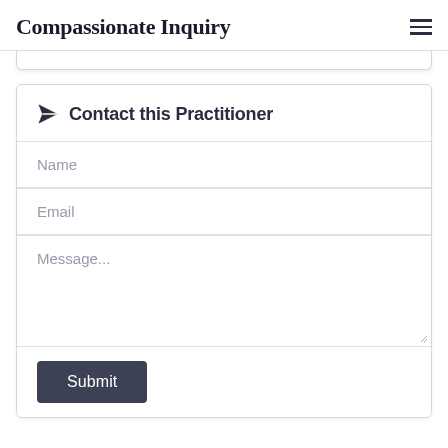Compassionate Inquiry
Contact this Practitioner
Name
Email
Message...
Submit